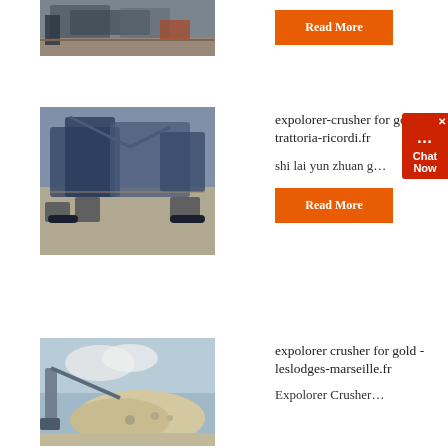[Figure (photo): Mining/crushing equipment on rocky terrain, partial view at top of page]
[Figure (other): Orange 'Read More' button]
[Figure (photo): Large blue mobile crusher/screening machines on dirt terrain]
expolorer-crusher for gold - trattoria-ricordi.fr
shi lai yun zhuan g…
[Figure (other): Orange 'Read More' button]
[Figure (other): Chat Now widget in red on right side]
[Figure (photo): Mobile crusher with pile of crushed stone/aggregate material]
expolorer crusher for gold - leslodges-marseille.fr
Expolorer Crusher…